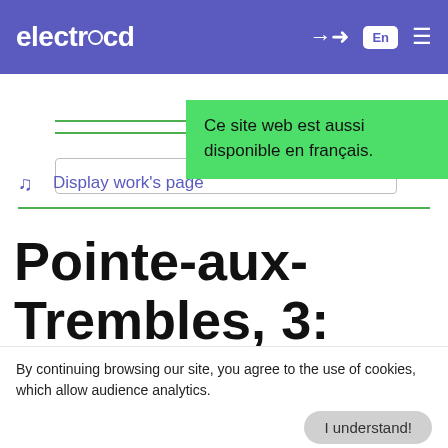electrocd — En
Ce site web est aussi disponible en français.
♫ Display work's page
Pointe-aux-Trembles, 3: Elle
By continuing browsing our site, you agree to the use of cookies, which allow audience analytics.
I understand!